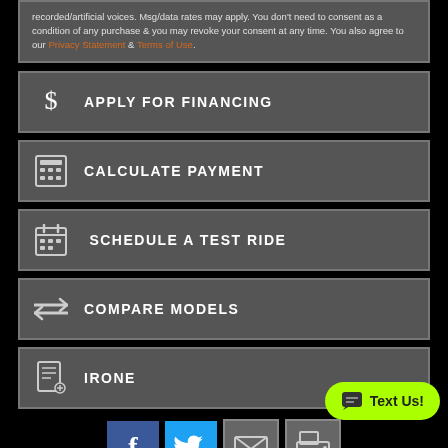recorded/artificial voices. Msg/data rates may apply. You don't need to consent as a condition of any purchase & you may revoke your consent at any time. You also agree to our Privacy Statement & Terms of Use.
$ APPLY FOR FINANCING
CALCULATE PAYMENT
SCHEDULE A TEST RIDE
COMPARE MODELS
IRONE
[Figure (infographic): Social sharing buttons: Facebook (blue), Twitter (light blue), Email (gray), Print (gray)]
2021 HARLEY-DAVIDSON IRON 883™ • $